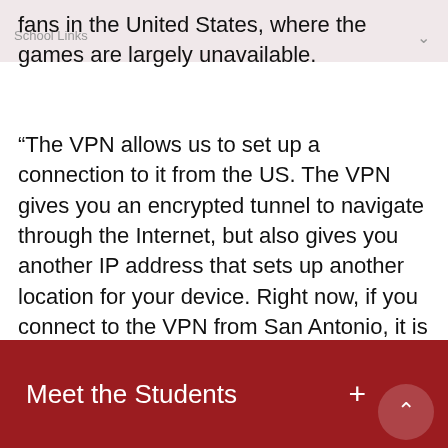School Links
fans in the United States, where the games are largely unavailable.
“The VPN allows us to set up a connection to it from the US. The VPN gives you an encrypted tunnel to navigate through the Internet, but also gives you another IP address that sets up another location for your device. Right now, if you connect to the VPN from San Antonio, it is going to show that your computer is actually in Mexico,” Penalosa said.
Meet the Students